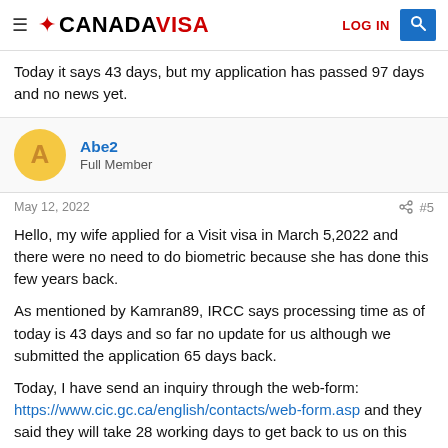CANADA VISA — LOG IN
Today it says 43 days, but my application has passed 97 days and no news yet.
Abe2
Full Member
May 12, 2022  #5
Hello, my wife applied for a Visit visa in March 5,2022 and there were no need to do biometric because she has done this few years back.

As mentioned by Kamran89, IRCC says processing time as of today is 43 days and so far no update for us although we submitted the application 65 days back.

Today, I have send an inquiry through the web-form: https://www.cic.gc.ca/english/contacts/web-form.asp and they said they will take 28 working days to get back to us on this inquiry.